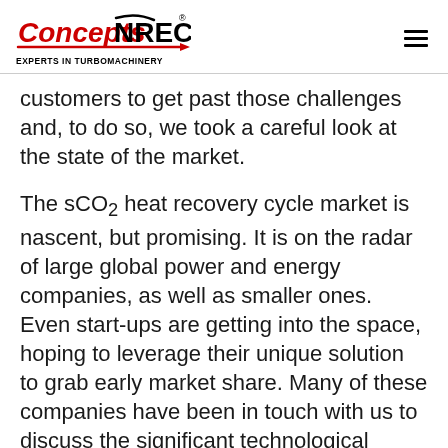Concepts NREC — EXPERTS IN TURBOMACHINERY
customers to get past those challenges and, to do so, we took a careful look at the state of the market.
The sCO₂ heat recovery cycle market is nascent, but promising. It is on the radar of large global power and energy companies, as well as smaller ones. Even start-ups are getting into the space, hoping to leverage their unique solution to grab early market share. Many of these companies have been in touch with us to discuss the significant technological challenges associated with sCO₂ technology. With the promise of smaller